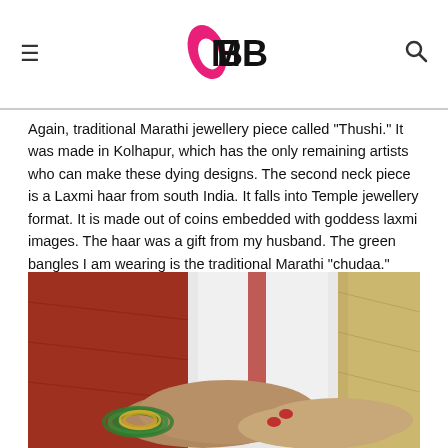IMBB
Again, traditional Marathi jewellery piece called "Thushi." It was made in Kolhapur, which has the only remaining artists who can make these dying designs. The second neck piece is a Laxmi haar from south India. It falls into Temple jewellery format. It is made out of coins embedded with goddess laxmi images. The haar was a gift from my husband. The green bangles I am wearing is the traditional Marathi "chudaa."  Each bangle is handmade. It is always brought from Kolhapur after being blessed by goddess Mahalaxmi of Kolhapur.
[Figure (photo): A close-up photograph of hands resting on red and golden fabric, with green and gold bangles visible on the wrist, and a white-clothed figure in the background.]